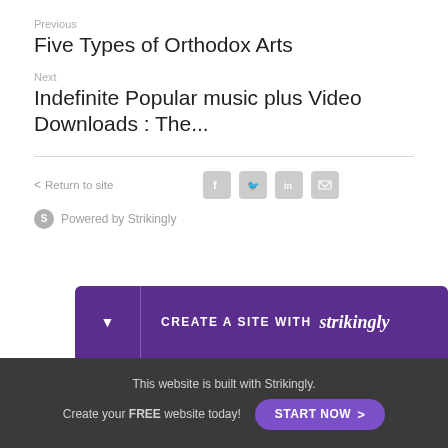Previous
Five Types of Orthodox Arts
Next
Indefinite Popular music plus Video Downloads : The...
< Return to site
Powered by Strikingly
[Figure (other): Purple banner with CREATE A SITE WITH strikingly branding]
This website is built with Strikingly. Create your FREE website today! START NOW >